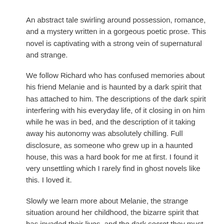An abstract tale swirling around possession, romance, and a mystery written in a gorgeous poetic prose. This novel is captivating with a strong vein of supernatural and strange.
We follow Richard who has confused memories about his friend Melanie and is haunted by a dark spirit that has attached to him. The descriptions of the dark spirit interfering with his everyday life, of it closing in on him while he was in bed, and the description of it taking away his autonomy was absolutely chilling. Full disclosure, as someone who grew up in a haunted house, this was a hard book for me at first. I found it very unsettling which I rarely find in ghost novels like this. I loved it.
Slowly we learn more about Melanie, the strange situation around her childhood, the bizarre spirit that has invaded their lives, and the dark secret they must uncover. Overall this story flips around quickly, leaves you down many wrong turns and dead ends, and has you trying to guess what will happen next. It is an absolutely incredible reading experience.